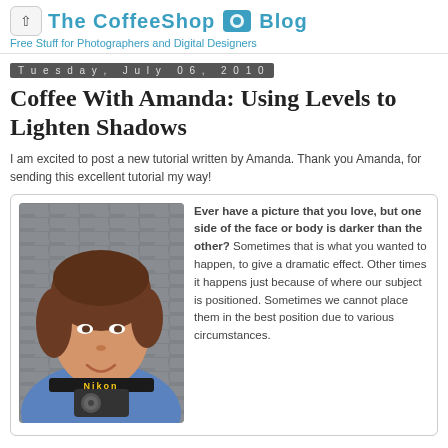The CoffeeShop Blog – Free Stuff for Photographers and Digital Designers
Tuesday, July 06, 2010
Coffee With Amanda: Using Levels to Lighten Shadows
I am excited to post a new tutorial written by Amanda. Thank you Amanda, for sending this excellent tutorial my way!
[Figure (photo): Portrait photo of Amanda, a woman with brown hair wearing a blue shirt and a Nikon camera strap]
Ever have a picture that you love, but one side of the face or body is darker than the other? Sometimes that is what you wanted to happen, to give a dramatic effect. Other times it happens just because of where our subject is positioned. Sometimes we cannot place them in the best position due to various circumstances.